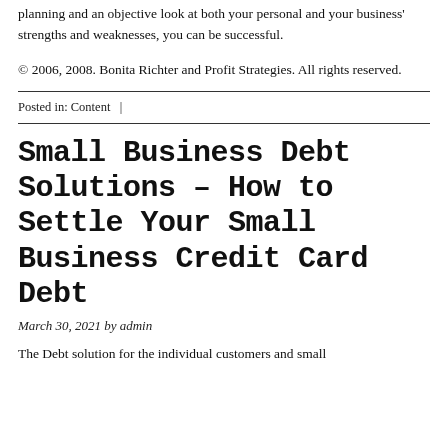planning and an objective look at both your personal and your business' strengths and weaknesses, you can be successful.
© 2006, 2008. Bonita Richter and Profit Strategies. All rights reserved.
Posted in: Content  |
Small Business Debt Solutions – How to Settle Your Small Business Credit Card Debt
March 30, 2021 by admin
The Debt solution for the individual customers and small